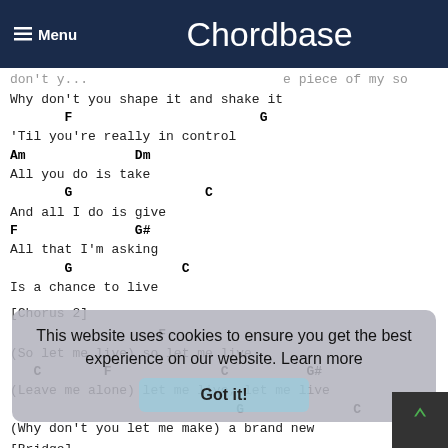Menu  Chordbase
don't y...  e piece of my so
Why don't you shape it and shake it
F                        G
'Til you're really in control
Am              Dm
All you do is take
G                 C
And all I do is give
F               G#
All that I'm asking
G              C
Is a chance to live
[Chorus 2]
F
(So let me live) so let me live
C        F              C          G#
(Leave me alone) let me live, let me live
G              C
(Why don't you let me make) a brand new
[Bridge]
This website uses cookies to ensure you get the best experience on our website. Learn more
Got it!